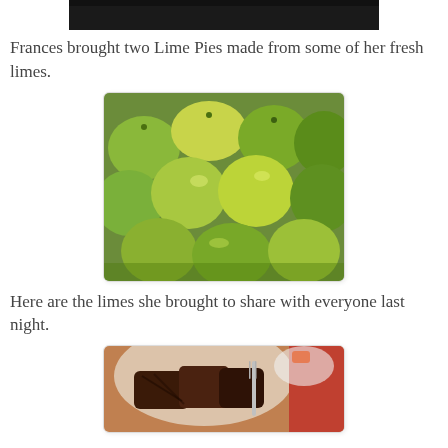[Figure (photo): Partial top photo, mostly dark/black, cropped at the top of the page]
Frances brought two Lime Pies made from some of her fresh limes.
[Figure (photo): A large pile of fresh green limes photographed from above, filling the frame]
Here are the limes she brought to share with everyone last night.
[Figure (photo): Plate of grilled or barbecued meat (ribs?) with a fork, on a table, partially visible at the bottom of the page]